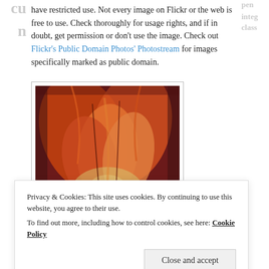have restricted use. Not every image on Flickr or the web is free to use. Check thoroughly for usage rights, and if in doubt, get permission or don't use the image. Check out Flickr's Public Domain Photos' Photostream for images specifically marked as public domain.
[Figure (photo): Close-up photo of orange and red abstract shapes, possibly flower petals or autumn leaves, with some light visible in the background.]
Privacy & Cookies: This site uses cookies. By continuing to use this website, you agree to their use. To find out more, including how to control cookies, see here: Cookie Policy